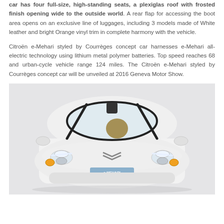car has four full-size, high-standing seats, a plexiglas roof with frosted finish opening wide to the outside world. A rear flap for accessing the boot area opens on an exclusive line of luggages, including 3 models made of White leather and bright Orange vinyl trim in complete harmony with the vehicle.
Citroën e-Mehari styled by Courrèges concept car harnesses e-Mehari all-electric technology using lithium metal polymer batteries. Top speed reaches 68 and urban-cycle vehicle range 124 miles. The Citroën e-Mehari styled by Courrèges concept car will be unveiled at 2016 Geneva Motor Show.
[Figure (photo): Front view of the Citroën e-Mehari concept car styled by Courrèges, shown in white against a light grey background. The car has a distinctive rounded front fascia with the Citroën chevron logo, LED headlights, orange turn signals, and an e-Mehari licence plate.]